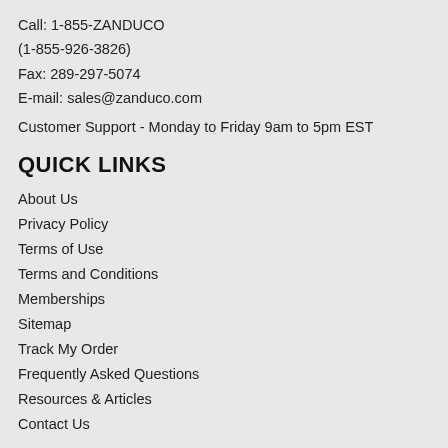Call: 1-855-ZANDUCO
(1-855-926-3826)
Fax: 289-297-5074
E-mail: sales@zanduco.com
Customer Support - Monday to Friday 9am to 5pm EST
QUICK LINKS
About Us
Privacy Policy
Terms of Use
Terms and Conditions
Memberships
Sitemap
Track My Order
Frequently Asked Questions
Resources & Articles
Contact Us